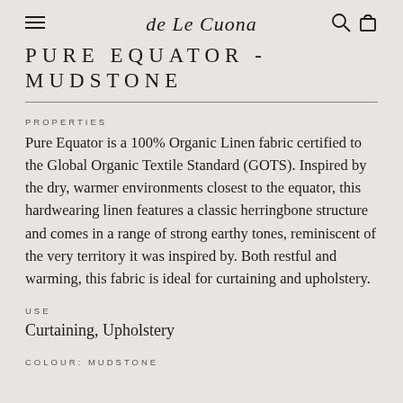de Le Cuona
PURE EQUATOR - MUDSTONE
PROPERTIES
Pure Equator is a 100% Organic Linen fabric certified to the Global Organic Textile Standard (GOTS). Inspired by the dry, warmer environments closest to the equator, this hardwearing linen features a classic herringbone structure and comes in a range of strong earthy tones, reminiscent of the very territory it was inspired by. Both restful and warming, this fabric is ideal for curtaining and upholstery.
USE
Curtaining, Upholstery
COLOUR: MUDSTONE